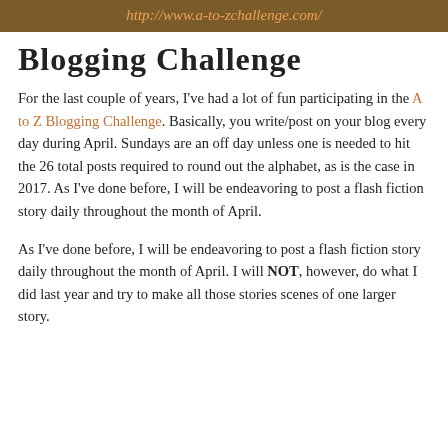http://www.a-to-zchallenge.com/
Blogging Challenge
For the last couple of years, I've had a lot of fun participating in the A to Z Blogging Challenge. Basically, you write/post on your blog every day during April. Sundays are an off day unless one is needed to hit the 26 total posts required to round out the alphabet, as is the case in 2017. As I've done before, I will be endeavoring to post a flash fiction story daily throughout the month of April.
As I've done before, I will be endeavoring to post a flash fiction story daily throughout the month of April. I will NOT, however, do what I did last year and try to make all those stories scenes of one larger story.